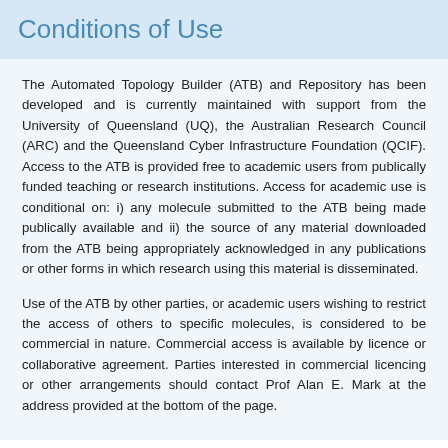Conditions of Use
The Automated Topology Builder (ATB) and Repository has been developed and is currently maintained with support from the University of Queensland (UQ), the Australian Research Council (ARC) and the Queensland Cyber Infrastructure Foundation (QCIF). Access to the ATB is provided free to academic users from publically funded teaching or research institutions. Access for academic use is conditional on: i) any molecule submitted to the ATB being made publically available and ii) the source of any material downloaded from the ATB being appropriately acknowledged in any publications or other forms in which research using this material is disseminated.
Use of the ATB by other parties, or academic users wishing to restrict the access of others to specific molecules, is considered to be commercial in nature. Commercial access is available by licence or collaborative agreement. Parties interested in commercial licencing or other arrangements should contact Prof Alan E. Mark at the address provided at the bottom of the page.